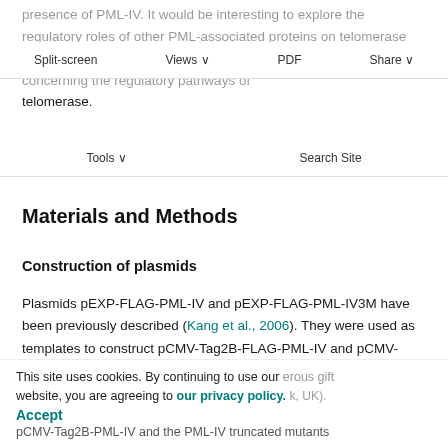presence of PML-IV. It would be interesting to explore the regulatory roles of other PML-associated proteins on telomerase function, which could open new avenues of investigation concerning the regulatory pathways of telomerase.
Split-screen   Views   PDF   Share
Tools   Search Site
Materials and Methods
Construction of plasmids
Plasmids pEXP-FLAG-PML-IV and pEXP-FLAG-PML-IV3M have been previously described (Kang et al., 2006). They were used as templates to construct pCMV-Tag2B-FLAG-PML-IV and pCMV-Tag2B-FLAG-PML-IV3M. pCI-FLAG-
This site uses cookies. By continuing to use our website, you are agreeing to our privacy policy. Accept